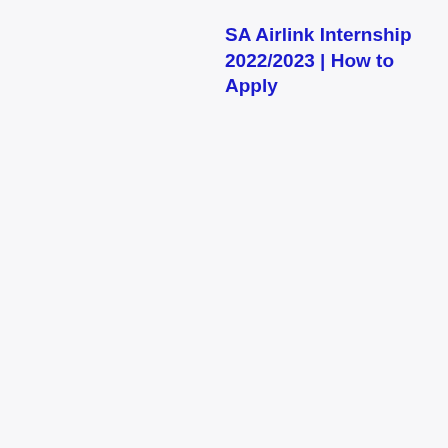SA Airlink Internship 2022/2023 | How to Apply